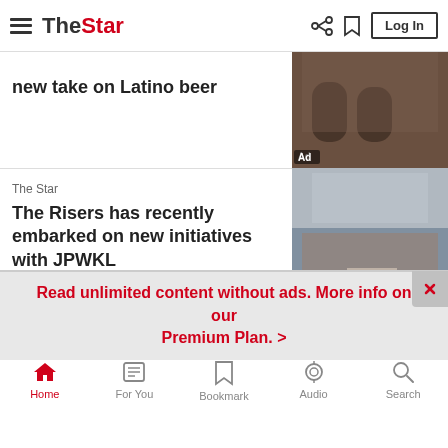The Star — navigation bar with Log In
new take on Latino beer
[Figure (photo): Two people holding beer glasses, with Ad label overlay]
The Star
The Risers has recently embarked on new initiatives with JPWKL
[Figure (photo): Large indoor gathering hall with crowd of people]
The Star
[Figure (photo): Partially visible dark photo]
Read unlimited content without ads. More info on our Premium Plan. >
Home | For You | Bookmark | Audio | Search